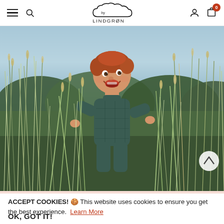by LINDGREN — navigation bar with hamburger menu, search, logo, user icon, cart (0)
[Figure (photo): A smiling red-haired toddler wearing a dark teal quilted jumpsuit standing among tall wild grasses and shrubs outdoors]
ACCEPT COOKIES! 🍪 This website uses cookies to ensure you get the best experience. Learn More
OK, GOT IT!